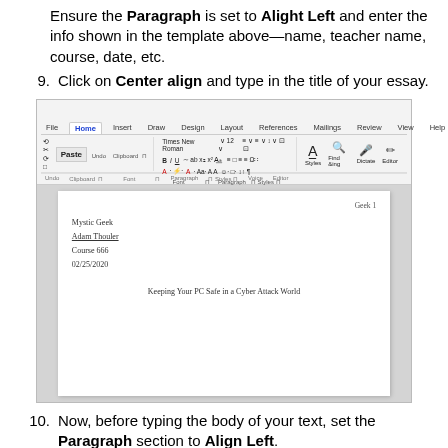Ensure the Paragraph is set to Alight Left and enter the info shown in the template above—name, teacher name, course, date, etc.
9. Click on Center align and type in the title of your essay.
[Figure (screenshot): Microsoft Word screenshot showing a document with MLA header info: Mystic Geek, Adam Thouler, Course 666, 02/25/2020, and centered title 'Keeping Your PC Safe in a Cyber Attack World']
10. Now, before typing the body of your text, set the Paragraph section to Align Left.
11. Start writing your text and note that if you need to indent a paragraph, you just need to hit Tab. Here's a look at a sample if you need to use MLA